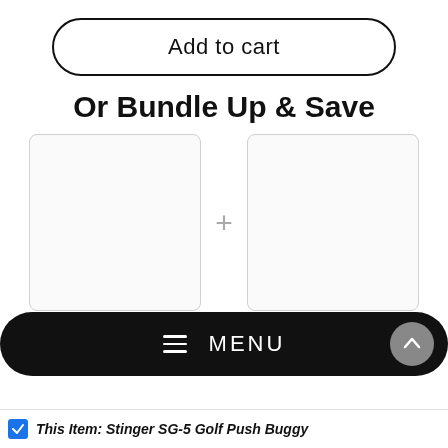Add to cart
Or Bundle Up & Save
[Figure (other): Two empty product image placeholder boxes side by side with a plus sign between them, indicating a bundle product selection interface]
Total Price:  $428.95
MENU
This Item: Stinger SG-5 Golf Push Buggy